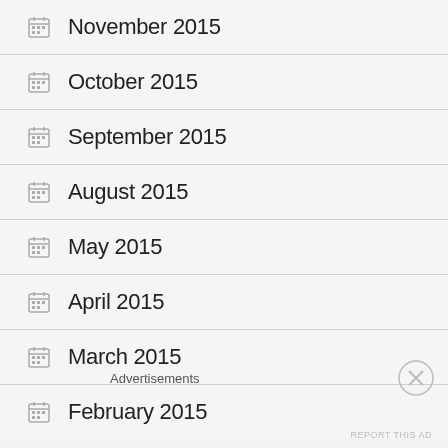November 2015
October 2015
September 2015
August 2015
May 2015
April 2015
March 2015
February 2015
Advertisements